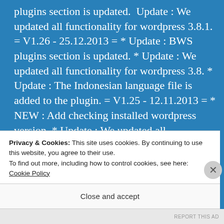plugins section is updated. * Update : We updated all functionality for wordpress 3.8.1. = V1.26 - 25.12.2013 = * Update : BWS plugins section is updated. * Update : We updated all functionality for wordpress 3.8. * Update : The Indonesian language file is added to the plugin. = V1.25 - 12.11.2013 = * NEW : Add checking installed wordpress version. * Update : We updated all
Privacy & Cookies: This site uses cookies. By continuing to use this website, you agree to their use.
To find out more, including how to control cookies, see here: Cookie Policy
Close and accept